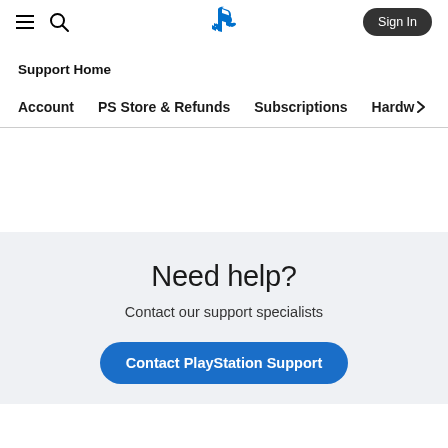PlayStation Support Home
Support Home
Account  PS Store & Refunds  Subscriptions  Hardw›
Need help?
Contact our support specialists
Contact PlayStation Support